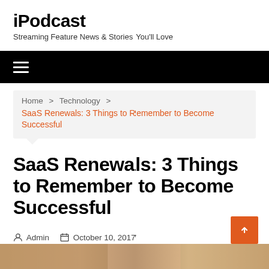iPodcast
Streaming Feature News & Stories You'll Love
[Figure (other): Black navigation bar with hamburger menu icon]
Home > Technology > SaaS Renewals: 3 Things to Remember to Become Successful
SaaS Renewals: 3 Things to Remember to Become Successful
Admin  October 10, 2017
[Figure (photo): Partial image strip at bottom of page]